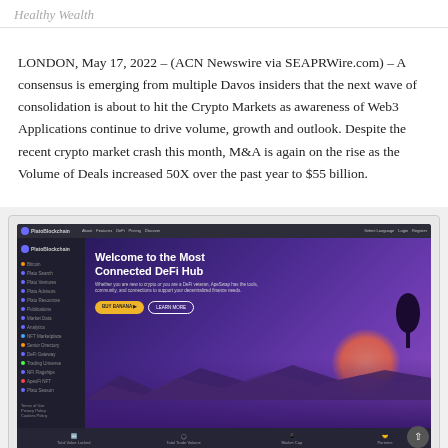Healthy Wealth
LONDON, May 17, 2022 – (ACN Newswire via SEAPRWire.com) – A consensus is emerging from multiple Davos insiders that the next wave of consolidation is about to hit the Crypto Markets as awareness of Web3 Applications continue to drive volume, growth and outlook. Despite the recent crypto market crash this month, M&A is again on the rise as the Volume of Deals increased 50X over the past year to $55 billion.
[Figure (screenshot): Screenshot of PlatoBlockchain website showing 'Welcome to the Most Connected DeFi Hub' hero section with stats: Total Value Locked $133,977,912, Total Trade Volume $16,791,591,510, Market Cap $19,242,482, Partners 203]